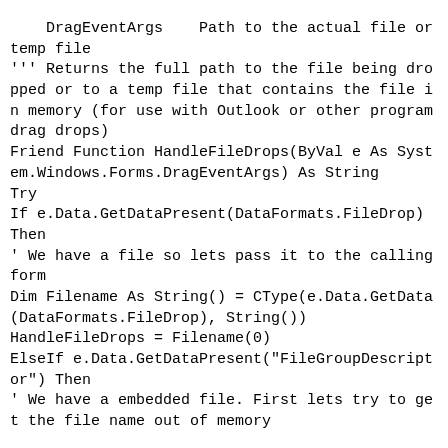DragEventArgs    Path to the actual file or temp file
''' Returns the full path to the file being dropped or to a temp file that contains the file in memory (for use with Outlook or other program drag drops)
Friend Function HandleFileDrops(ByVal e As System.Windows.Forms.DragEventArgs) As String
Try
If e.Data.GetDataPresent(DataFormats.FileDrop) Then
' We have a file so lets pass it to the calling form
Dim Filename As String() = CType(e.Data.GetData(DataFormats.FileDrop), String())
HandleFileDrops = Filename(0)
ElseIf e.Data.GetDataPresent("FileGroupDescriptor") Then
' We have a embedded file. First lets try to get the file name out of memory